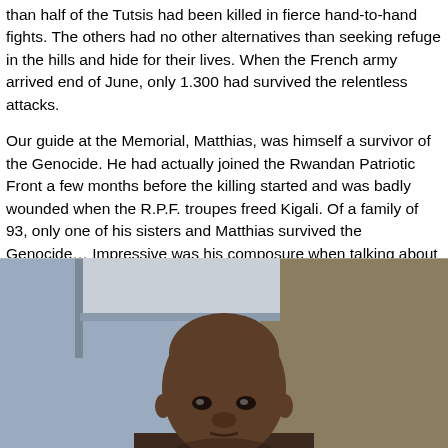than half of the Tutsis had been killed in fierce hand-to-hand fights. The others had no other alternatives than seeking refuge in the hills and hide for their lives. When the French army arrived end of June, only 1.300 had survived the relentless attacks.
Our guide at the Memorial, Matthias, was himself a survivor of the Genocide. He had actually joined the Rwandan Patriotic Front a few months before the killing started and was badly wounded when the R.P.F. troupes freed Kigali. Of a family of 93, only one of his sisters and Matthias survived the Genocide… Impressive was his composure when talking about the murderers leaving freely in every community in Rwanda: “We must forgive, if we want to build a new Rwanda”…
[Figure (photo): Portrait photograph of a bald Black man, taken from approximately chest level up, with a light grey architectural background and a tan/brown wall visible behind him.]